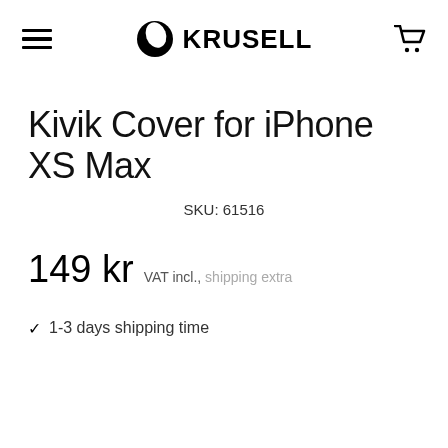Krusell
Kivik Cover for iPhone XS Max
SKU: 61516
149 kr VAT incl., shipping extra
1-3 days shipping time